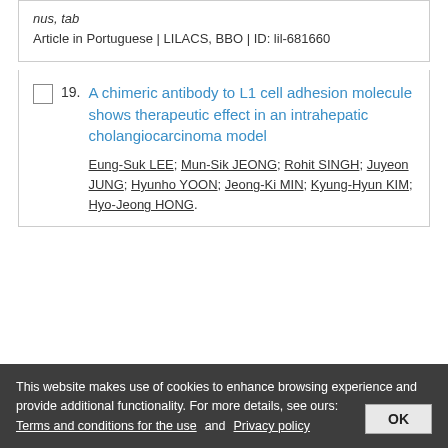nus, tab
Article in Portuguese | LILACS, BBO | ID: lil-681660
19. A chimeric antibody to L1 cell adhesion molecule shows therapeutic effect in an intrahepatic cholangiocarcinoma model
Eung-Suk LEE; Mun-Sik JEONG; Rohit SINGH; Juyeon JUNG; Hyunho YOON; Jeong-Ki MIN; Kyung-Hyun KIM; Hyo-Jeong HONG.
This website makes use of cookies to enhance browsing experience and provide additional functionality. For more details, see ours: Terms and conditions for the use and Privacy policy
OK